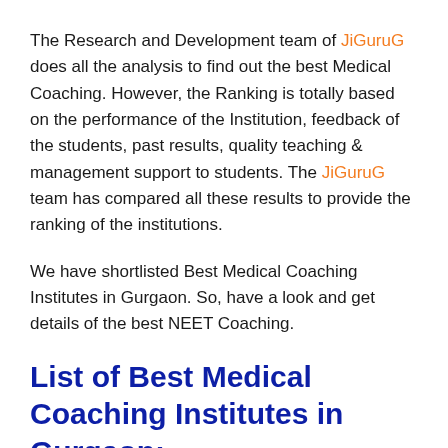The Research and Development team of JiGuruG does all the analysis to find out the best Medical Coaching. However, the Ranking is totally based on the performance of the Institution, feedback of the students, past results, quality teaching & management support to students. The JiGuruG team has compared all these results to provide the ranking of the institutions.
We have shortlisted Best Medical Coaching Institutes in Gurgaon. So, have a look and get details of the best NEET Coaching.
List of Best Medical Coaching Institutes in Gurgaon: